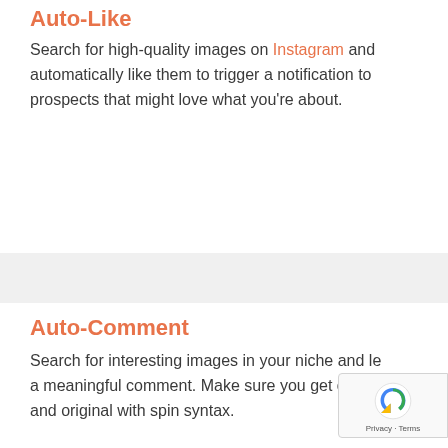Auto-Like
Search for high-quality images on Instagram and automatically like them to trigger a notification to prospects that might love what you're about.
Auto-Comment
Search for interesting images in your niche and leave a meaningful comment. Make sure you get creative and original with spin syntax.